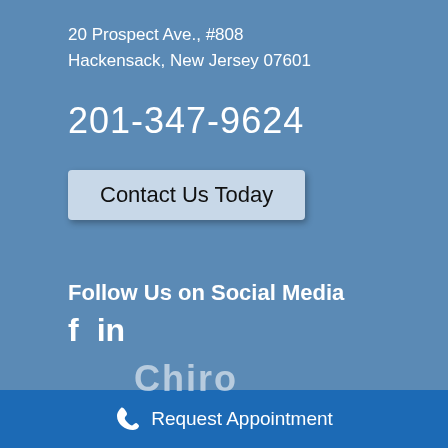20 Prospect Ave., #808
Hackensack, New Jersey 07601
201-347-9624
Contact Us Today
Follow Us on Social Media
f  in
[Figure (logo): Partial logo text visible at bottom of main section]
Request Appointment